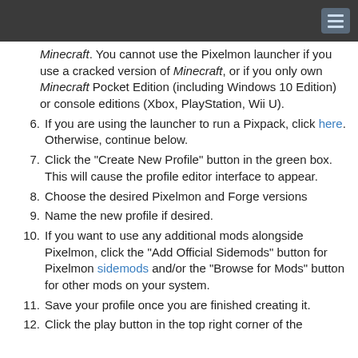Minecraft. You cannot use the Pixelmon launcher if you use a cracked version of Minecraft, or if you only own Minecraft Pocket Edition (including Windows 10 Edition) or console editions (Xbox, PlayStation, Wii U).
6. If you are using the launcher to run a Pixpack, click here. Otherwise, continue below.
7. Click the "Create New Profile" button in the green box. This will cause the profile editor interface to appear.
8. Choose the desired Pixelmon and Forge versions
9. Name the new profile if desired.
10. If you want to use any additional mods alongside Pixelmon, click the "Add Official Sidemods" button for Pixelmon sidemods and/or the "Browse for Mods" button for other mods on your system.
11. Save your profile once you are finished creating it.
12. Click the play button in the top right corner of the...